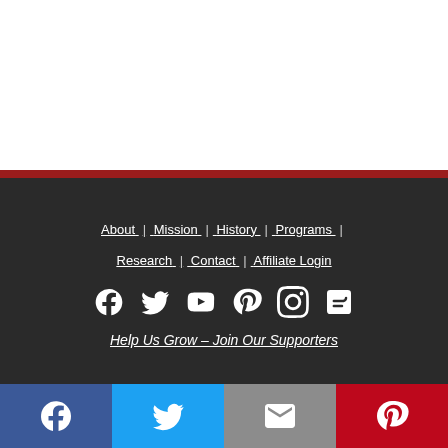About | Mission | History | Programs | Research | Contact | Affiliate Login
[Figure (illustration): Social media icons: Facebook, Twitter, YouTube, Pinterest, Instagram, Blogger]
Help Us Grow – Join Our Supporters
[Figure (illustration): Bottom share bar with Facebook, Twitter, Email, and Pinterest buttons]